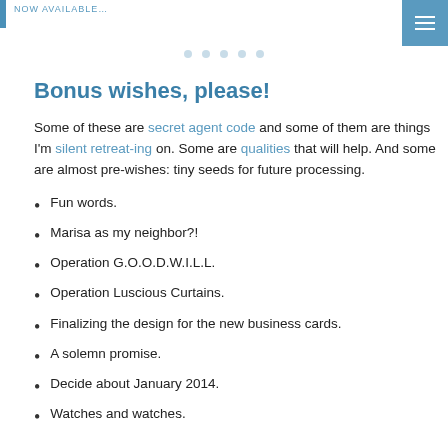NOW AVAILABLE…
Bonus wishes, please!
Some of these are secret agent code and some of them are things I'm silent retreat-ing on. Some are qualities that will help. And some are almost pre-wishes: tiny seeds for future processing.
Fun words.
Marisa as my neighbor?!
Operation G.O.O.D.W.I.L.L.
Operation Luscious Curtains.
Finalizing the design for the new business cards.
A solemn promise.
Decide about January 2014.
Watches and watches.